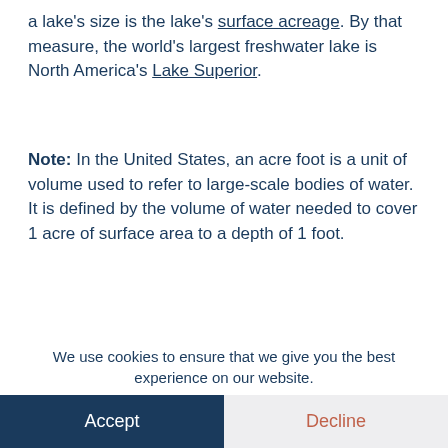a lake's size is the lake's surface acreage. By that measure, the world's largest freshwater lake is North America's Lake Superior.
Note: In the United States, an acre foot is a unit of volume used to refer to large-scale bodies of water. It is defined by the volume of water needed to cover 1 acre of surface area to a depth of 1 foot.
You can find many of the the world's largest lakes (by water volume) on LakeLubbers. Note:
We use cookies to ensure that we give you the best experience on our website.
Accept
Decline